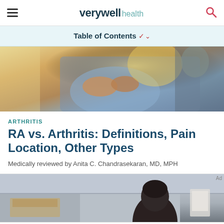verywell health
Table of Contents
[Figure (photo): Close-up of a healthcare professional in blue scrubs examining or manipulating a patient's hand/finger joints, with a warm light in the background]
ARTHRITIS
RA vs. Arthritis: Definitions, Pain Location, Other Types
Medically reviewed by Anita C. Chandrasekaran, MD, MPH
[Figure (photo): A person (patient) seen from behind in what appears to be a medical office or examination room, with medical charts visible on the wall]
[Figure (other): Advertisement placeholder with repeating dot/bubble pattern in light gray]